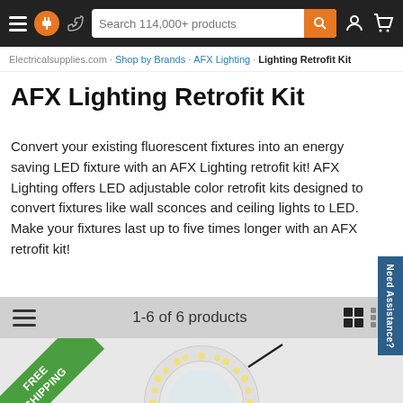Search 114,000+ products
AFX Lighting Retrofit Kit (breadcrumb)
AFX Lighting Retrofit Kit
Convert your existing fluorescent fixtures into an energy saving LED fixture with an AFX Lighting retrofit kit! AFX Lighting offers LED adjustable color retrofit kits designed to convert fixtures like wall sconces and ceiling lights to LED. Make your fixtures last up to five times longer with an AFX retrofit kit!
1-6 of 6 products
[Figure (photo): LED lighting retrofit kit circular module, shown partially at the bottom of the page with a free shipping ribbon badge in green on the top left corner.]